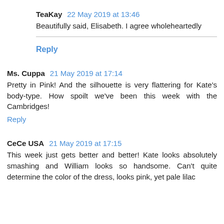TeaKay  22 May 2019 at 13:46
Beautifully said, Elisabeth. I agree wholeheartedly
Reply
Ms. Cuppa  21 May 2019 at 17:14
Pretty in Pink! And the silhouette is very flattering for Kate's body-type. How spoilt we've been this week with the Cambridges!
Reply
CeCe USA  21 May 2019 at 17:15
This week just gets better and better! Kate looks absolutely smashing and William looks so handsome. Can't quite determine the color of the dress, looks pink, yet pale lilac